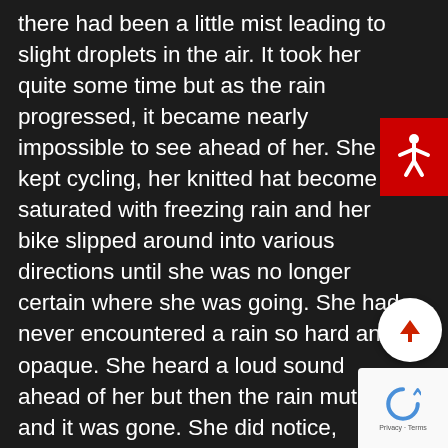there had been a little mist leading to slight droplets in the air. It took her quite some time but as the rain progressed, it became nearly impossible to see ahead of her. She kept cycling, her knitted hat become saturated with freezing rain and her bike slipped around into various directions until she was no longer certain where she was going. She had never encountered a rain so hard and opaque. She heard a loud sound ahead of her but then the rain muted it and it was gone. She did notice, however, that the road had turned to mud. The concrete road that she always traveled on, now, without any warning, turned to mud. Her old body was
[Figure (other): Red square accessibility button with white human figure icon (arms and legs outstretched)]
[Figure (other): Round white scroll-to-top button with red upward arrow]
[Figure (other): Google reCAPTCHA widget showing the recycling arrow logo and 'Privacy - Terms' text]